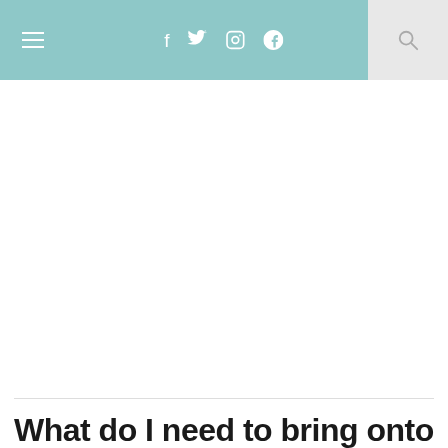≡  f  🐦  📷  𝓟  🔍
What do I need to bring onto an Amtrak Train?